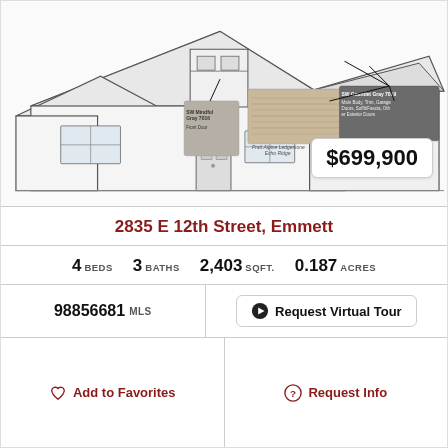[Figure (illustration): Architectural line drawing of a single-story ranch-style house with a two-car garage, stone accents, and color swatches overlay showing: SW Mindful Gray 7016 (Front Door), Pratt Alpine Ledgestone Echo Ridge (stone sample), SW Gauntlet Gray 7019 (Main Body, Trim, Garage Doors, Soffit/Fascia, Other Exterior Doors). Price badge showing $699,900.]
$699,900
2835 E 12th Street, Emmett
4 BEDS   3 BATHS   2,403 SQFT.   0.187 ACRES
98856681 MLS
Request Virtual Tour
Add to Favorites
Request Info